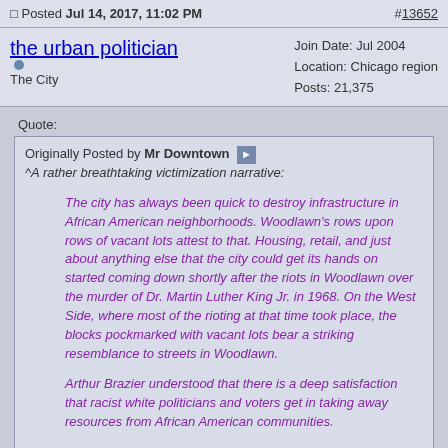Posted Jul 14, 2017, 11:02 PM  #13652
the urban politician [online] The City  Join Date: Jul 2004  Location: Chicago region  Posts: 21,375
Quote: Originally Posted by Mr Downtown ^A rather breathtaking victimization narrative: The city has always been quick to destroy infrastructure in African American neighborhoods. Woodlawn's rows upon rows of vacant lots attest to that. Housing, retail, and just about anything else that the city could get its hands on started coming down shortly after the riots in Woodlawn over the murder of Dr. Martin Luther King Jr. in 1968. On the West Side, where most of the rioting at that time took place, the blocks pockmarked with vacant lots bear a striking resemblance to streets in Woodlawn. Arthur Brazier understood that there is a deep satisfaction that racist white politicians and voters get in taking away resources from African American communities.